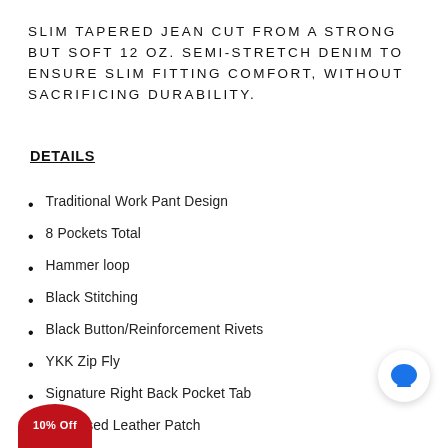SLIM TAPERED JEAN CUT FROM A STRONG BUT SOFT 12 OZ. SEMI-STRETCH DENIM TO ENSURE SLIM FITTING COMFORT, WITHOUT SACRIFICING DURABILITY.
DETAILS
Traditional Work Pant Design
8 Pockets Total
Hammer loop
Black Stitching
Black Button/Reinforcement Rivets
YKK Zip Fly
Signature Right Back Pocket Tab
Debossed Leather Patch